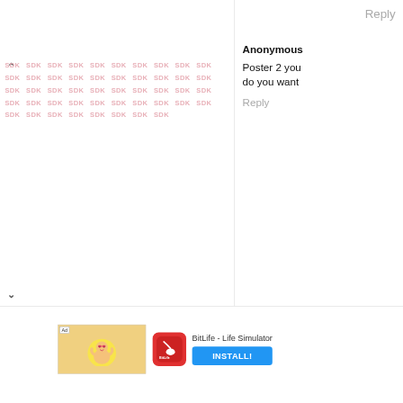[Figure (screenshot): Left panel with SDK watermark pattern repeated in a grid, with up and down arrow navigation controls]
Reply
Anonymous
Poster 2 you do you want
Reply
[Figure (screenshot): Advertisement banner for BitLife - Life Simulator app with install button]